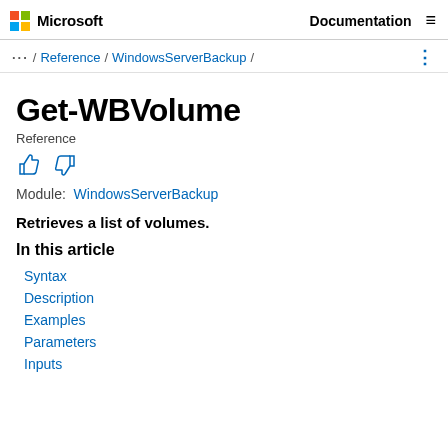Microsoft  Documentation
... / Reference / WindowsServerBackup /
Get-WBVolume
Reference
Module: WindowsServerBackup
Retrieves a list of volumes.
In this article
Syntax
Description
Examples
Parameters
Inputs